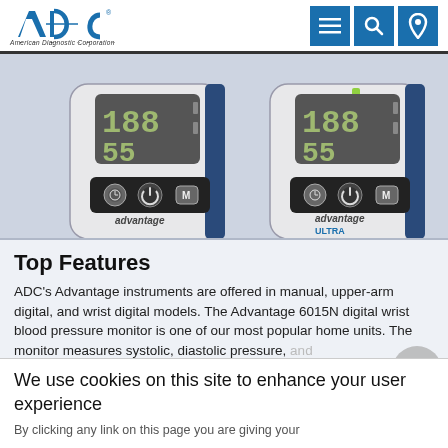ADC - American Diagnostic Corporation
[Figure (photo): Two ADC Advantage blood pressure monitors side by side — left labeled 'advantage', right labeled 'advantage ULTRA', both showing digital displays with readings 188/55, with control buttons (clock, power, M) on front panel.]
Top Features
ADC's Advantage instruments are offered in manual, upper-arm digital, and wrist digital models. The Advantage 6015N digital wrist blood pressure monitor is one of our most popular home units. The monitor measures systolic, diastolic pressure, and pulse, and features a British Hypertension So...
We use cookies on this site to enhance your user experience
By clicking any link on this page you are giving your